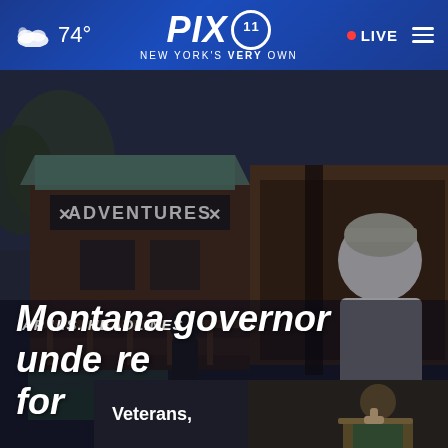74° PIX 11 NEW YORK'S VERY OWN • LIVE
[Figure (photo): Outdoor scene showing rustic wooden building with 'Adventures' sign, people outside in daytime]
AP U.S. HEADLINES
Montana governor under fire for d
Veterans,